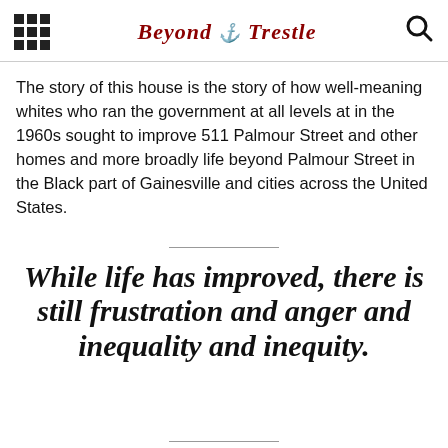Beyond the Trestle
The story of this house is the story of how well-meaning whites who ran the government at all levels at in the 1960s sought to improve 511 Palmour Street and other homes and more broadly life beyond Palmour Street in the Black part of Gainesville and cities across the United States.
While life has improved, there is still frustration and anger and inequality and inequity.